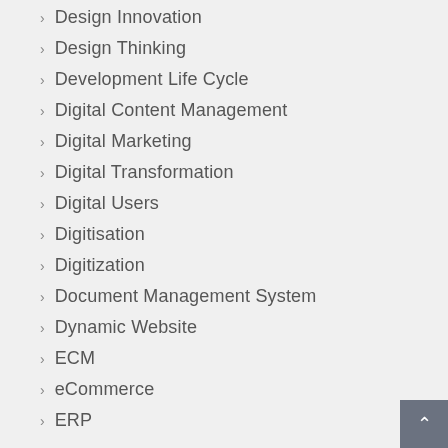Design Innovation
Design Thinking
Development Life Cycle
Digital Content Management
Digital Marketing
Digital Transformation
Digital Users
Digitisation
Digitization
Document Management System
Dynamic Website
ECM
eCommerce
ERP